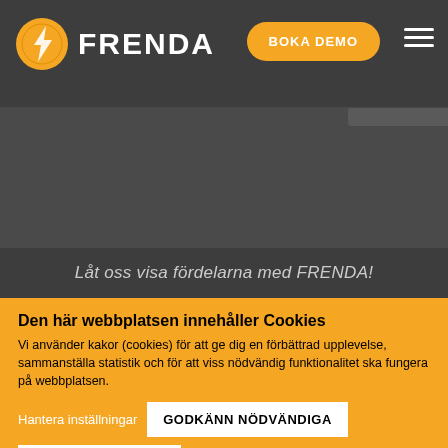[Figure (logo): FRENDA logo with orange circular icon and white FRENDA text on dark background]
BOKA DEMO
Låt oss visa fördelarna med FRENDA!
Den här webbplatsen innehåller Cookies
Vi använder kakor (cookies) för att ge dig en förbättrad upplevelse, sammanställa statistik och för att viss nödvändig funktionalitet ska fungera på webbplatsen.
Hantera inställningar
GODKÄNN NÖDVÄNDIGA
GODKÄNN ALLA